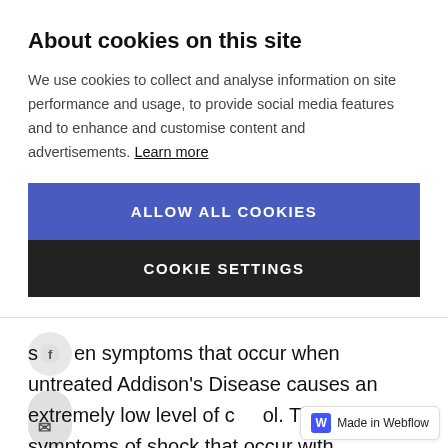About cookies on this site
We use cookies to collect and analyse information on site performance and usage, to provide social media features and to enhance and customise content and advertisements. Learn more
ALLOW ALL COOKIES
COOKIE SETTINGS
s…en symptoms that occur when untreated Addison's Disease causes an extremely low level of c…ol. The symptoms of shock that occur with Addisonian crisis can be life-threatening. The patient m…t get medical attention immediat…